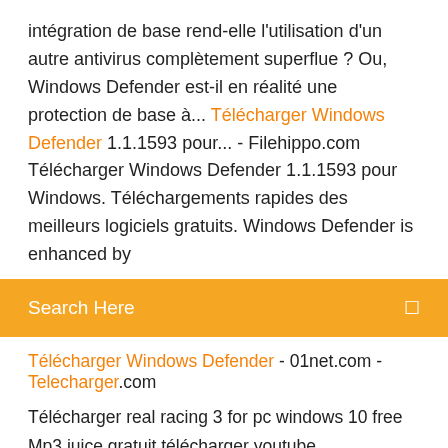intégration de base rend-elle l'utilisation d'un autre antivirus complètement superflue ? Ou, Windows Defender est-il en réalité une protection de base à... Télécharger Windows Defender 1.1.1593 pour... - Filehippo.com Télécharger Windows Defender 1.1.1593 pour Windows. Téléchargements rapides des meilleurs logiciels gratuits. Windows Defender is enhanced by
Search Here
Télécharger Windows Defender - 01net.com - Telecharger.com
Télécharger real racing 3 for pc windows 10 free
Mp3 juice gratuit télécharger youtube
Telecharger hors ligne netflix ordinateur
Super street fighter iv arcade edition gameplay
Sweet home 3d vf
Mac os x lion macbook a1181
Comment convertir pdf en xml gratuit
Telecharger music gratuit sans internet